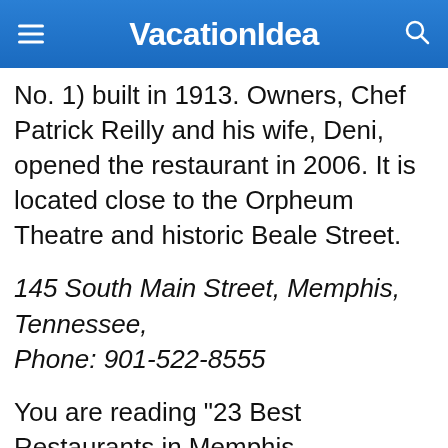VacationIdea
No. 1) built in 1913. Owners, Chef Patrick Reilly and his wife, Deni, opened the restaurant in 2006. It is located close to the Orpheum Theatre and historic Beale Street.
145 South Main Street, Memphis, Tennessee, Phone: 901-522-8555
You are reading "23 Best Restaurants in Memphis, Tennessee this Weekend with Friends" Back to Top
More places we like: NC beaches, Ft